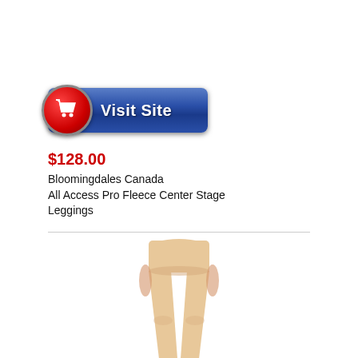[Figure (illustration): Blue 'Visit Site' button with red shopping cart circle icon on the left]
$128.00
Bloomingdales Canada
All Access Pro Fleece Center Stage Leggings
[Figure (photo): Product photo of a person wearing beige/nude fleece leggings, cropped to show torso and legs]